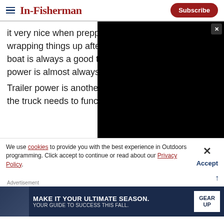In-Fisherman | Subscribe
it very nice when prepping in the morning or wrapping things up after dark. While an all-electric boat is always a good thing to consider, electric-only power is almost always impractical for most applications.
Trailer power is another consideration. In order for the truck needs to... function. In ord...
[Figure (screenshot): Black video player overlay covering right portion of article text]
We use cookies to provide you with the best experience in Outdoors programming. Click accept to continue or read about our Privacy Policy.
Advertisement
[Figure (infographic): Advertisement banner: MAKE IT YOUR ULTIMATE SEASON. YOUR GUIDE TO SUCCESS THIS FALL. GEAR UP]